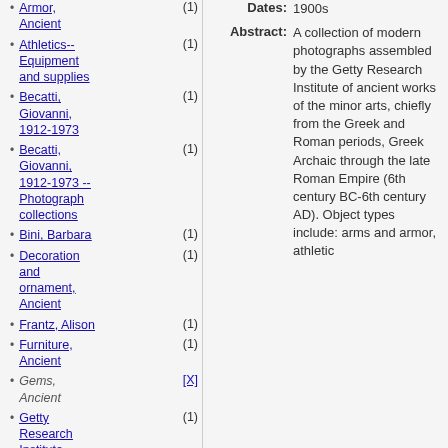Armor, Ancient (1)
Athletics-- Equipment and supplies (1)
Becatti, Giovanni, 1912-1973 (1)
Becatti, Giovanni, 1912-1973 -- Photograph collections (1)
Bini, Barbara (1)
Decoration and ornament, Ancient (1)
Frantz, Alison (1)
Furniture, Ancient (1)
Gems, Ancient [X]
Getty Research Institute (1)
Goldscheider, Ludwig, 1896-1973 (1)
Dates: 1900s
Abstract: A collection of modern photographs assembled by the Getty Research Institute of ancient works of the minor arts, chiefly from the Greek and Roman periods, Greek Archaic through the late Roman Empire (6th century BC-6th century AD). Object types include: arms and armor, athletic